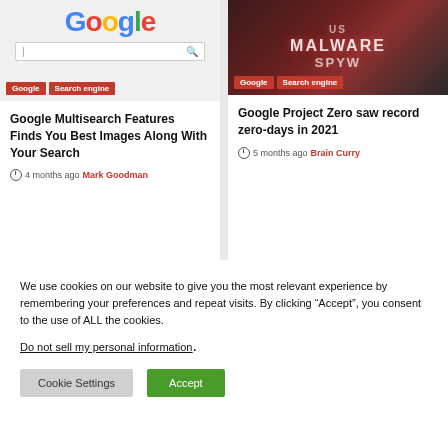[Figure (screenshot): Google homepage screenshot with search bar and Google logo]
[Figure (photo): Dark red background with text MALWARE and SPYWARE visible]
Google Multisearch Features Finds You Best Images Along With Your Search
4 months ago  Mark Goodman
Google Project Zero saw record zero-days in 2021
5 months ago  Brain Curry
We use cookies on our website to give you the most relevant experience by remembering your preferences and repeat visits. By clicking “Accept”, you consent to the use of ALL the cookies.
Do not sell my personal information.